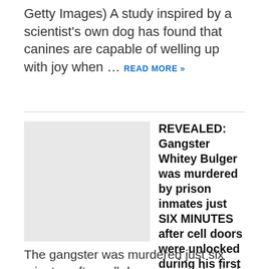Getty Images) A study inspired by a scientist's own dog has found that canines are capable of welling up with joy when … READ MORE »
[Figure (photo): Placeholder image (light gray rectangle) associated with the Whitey Bulger article]
REVEALED: Gangster Whitey Bulger was murdered by prison inmates just SIX MINUTES after cell doors were unlocked during his first day at West Virginia's ultra-violent Hazelton prison
The gangster was murdered just six minutes after cell doors were unlocked during his first morning at Hazelton Prison in West VirginiaA trio of inmates now accused of the murder are said to have been